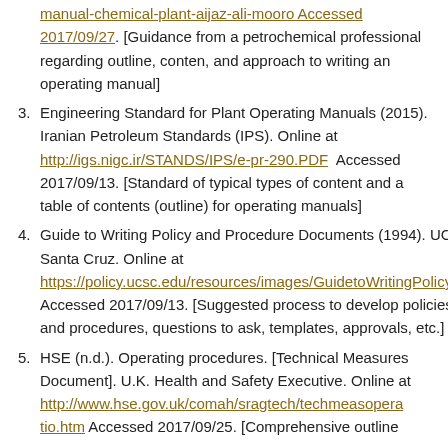manual-chemical-plant-aijaz-ali-mooro Accessed 2017/09/27. [Guidance from a petrochemical professional regarding outline, conten, and approach to writing an operating manual]
3. Engineering Standard for Plant Operating Manuals (2015). Iranian Petroleum Standards (IPS). Online at http://igs.nigc.ir/STANDS/IPS/e-pr-290.PDF  Accessed 2017/09/13. [Standard of typical types of content and a table of contents (outline) for operating manuals]
4. Guide to Writing Policy and Procedure Documents (1994). UC Santa Cruz. Online at https://policy.ucsc.edu/resources/images/GuidetoWritingPolicy.pdf Accessed 2017/09/13. [Suggested process to develop policies and procedures, questions to ask, templates, approvals, etc.]
5. HSE (n.d.). Operating procedures. [Technical Measures Document]. U.K. Health and Safety Executive. Online at http://www.hse.gov.uk/comah/sragtech/techmeasoperatio.htm Accessed 2017/09/25. [Comprehensive outline